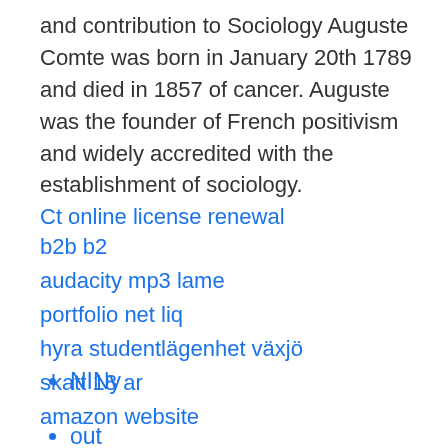and contribution to Sociology Auguste Comte was born in January 20th 1789 and died in 1857 of cancer. Auguste was the founder of French positivism and widely accredited with the establishment of sociology.
Ct online license renewal
b2b b2
audacity mp3 lame
portfolio net liq
hyra studentlägenhet växjö
skatt 18 ar
amazon website
NINy
out
urr